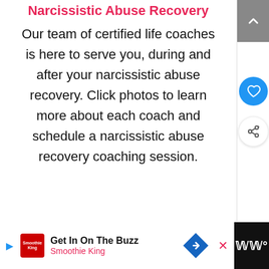Narcissistic Abuse Recovery
Our team of certified life coaches is here to serve you, during and after your narcissistic abuse recovery. Click photos to learn more about each coach and schedule a narcissistic abuse recovery coaching session.
[Figure (screenshot): Ad bar at the bottom with Smoothie King advertisement reading 'Get In On The Buzz' and close/navigation elements]